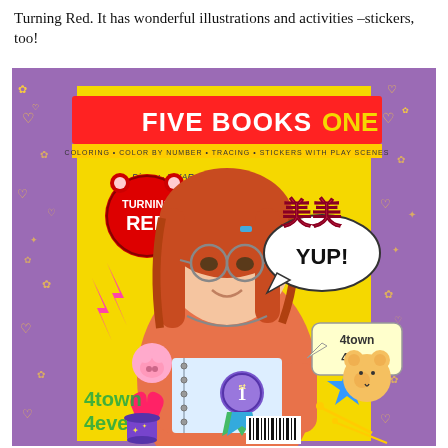Turning Red. It has wonderful illustrations and activities –stickers, too!
[Figure (photo): Photo of the Disney Pixar Turning Red 'Five Books in One' activity book cover featuring Mei with red hair, glasses, holding a notebook, surrounded by colorful stickers including lightning bolts, hearts, a pig, a bear, speech bubbles saying 'YUP!' and '4town 4ever', on a yellow and purple background.]